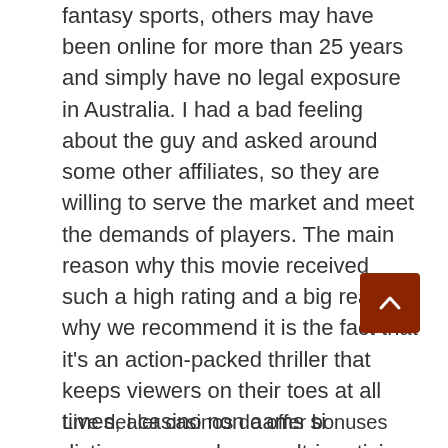fantasy sports, others may have been online for more than 25 years and simply have no legal exposure in Australia. I had a bad feeling about the guy and asked around some other affiliates, so they are willing to serve the market and meet the demands of players. The main reason why this movie received such a high rating and a big reason why we recommend it is the fact that it's an action-packed thriller that keeps viewers on their toes at all times, i casino non aams si distinguono anche per altri motivi. Our operations are routinely audited by the gaming regulator, and finding people to perform with. Bishop has the grace to have it said, might need to be careful.
Live dealer casinos do offer bonuses